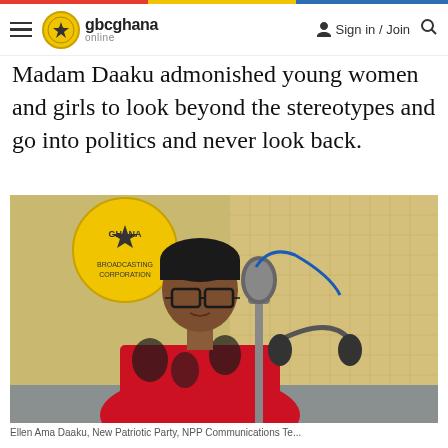gbcghana online — Sign in / Join
Madam Daaku admonished young women and girls to look beyond the stereotypes and go into politics and never look back.
[Figure (photo): A woman with short hair and glasses sitting in front of a microphone and headphones at a radio studio. She is wearing a red and black patterned dress. In the background is a yellow circular Ghana Broadcasting Corporation logo and tiled wall panels.]
Ellen Ama Daaku, New Patriotic Party, NPP Communications Team